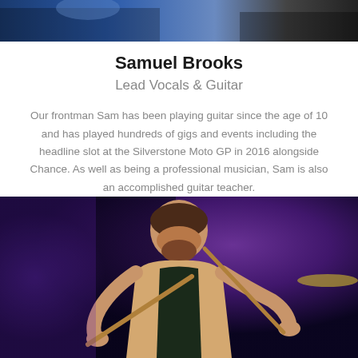[Figure (photo): Partial photo of a performer at the top of the page, mostly cropped]
Samuel Brooks
Lead Vocals & Guitar
Our frontman Sam has been playing guitar since the age of 10 and has played hundreds of gigs and events including the headline slot at the Silverstone Moto GP in 2016 alongside Chance. As well as being a professional musician, Sam is also an accomplished guitar teacher.
[Figure (photo): Photo of a bearded man playing drums with two drumsticks, lit by purple stage lighting, wearing a tan blazer]